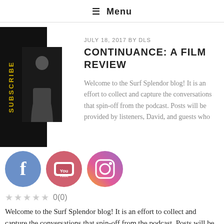☰ Menu
JULY 18, 2017 BY DLS
CONTINUANCE: A FILM REVIEW
Welcome to the Surf Splendor blog! It is an effort to collect and capture the conversations that spin-off from the podcast. Posts will be provided by listeners, David, and guests who
[Figure (illustration): Black sidebar with 'SUBSCRIBE' text in gold and a person silhouette image]
[Figure (illustration): Facebook, YouTube, and Instagram social media icons]
0(0)
Welcome to the Surf Splendor blog! It is an effort to collect and capture the conversations that spin-off from the podcast. Posts will be provided by listeners, David, and guests who have appeared on the show. Please leave